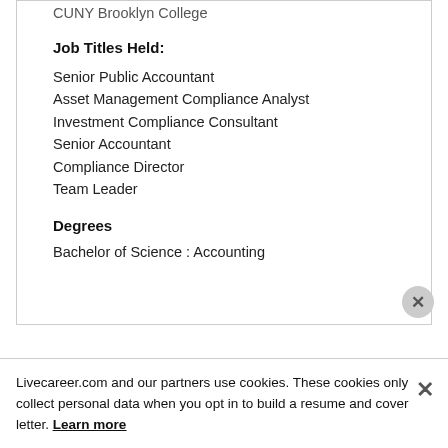CUNY Brooklyn College
Job Titles Held:
Senior Public Accountant
Asset Management Compliance Analyst
Investment Compliance Consultant
Senior Accountant
Compliance Director
Team Leader
Degrees
Bachelor of Science : Accounting
Livecareer.com and our partners use cookies. These cookies only collect personal data when you opt in to build a resume and cover letter. Learn more